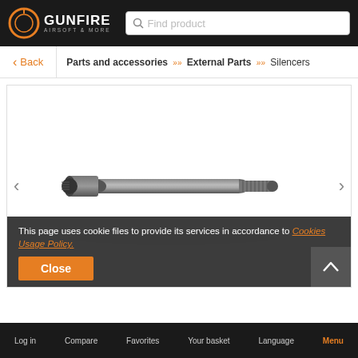[Figure (logo): Gunfire Airsoft & More logo with orange ring graphic on black background]
Find product
Back
Parts and accessories >> External Parts >> Silencers
[Figure (photo): Gray metal airsoft silencer/barrel extension tube with threaded ends on white background]
This page uses cookie files to provide its services in accordance to Cookies Usage Policy.
Close
Log in   Compare   Favorites   Your basket   Language   Menu